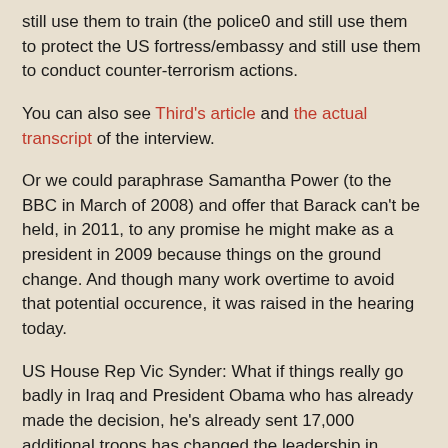still use them to train (the police0 and still use them to protect the US fortress/embassy and still use them to conduct counter-terrorism actions.
You can also see Third's article and the actual transcript of the interview.
Or we could paraphrase Samantha Power (to the BBC in March of 2008) and offer that Barack can't be held, in 2011, to any promise he might make as a president in 2009 because things on the ground change. And though many work overtime to avoid that potential occurence, it was raised in the hearing today.
US House Rep Vic Synder: What if things really go badly in Iraq and President Obama who has already made the decision, he's already sent 17,000 additional troops has changed the leadership in Afghanistan and clearly is making Afghanistan a higher priority, what if he were to decide, in the Secretary's words, be flexible, we're going to have put troops back in? Uh, you say we have adequate capacity, we didn't. We didn't for six or seven years. If we had it, I don't